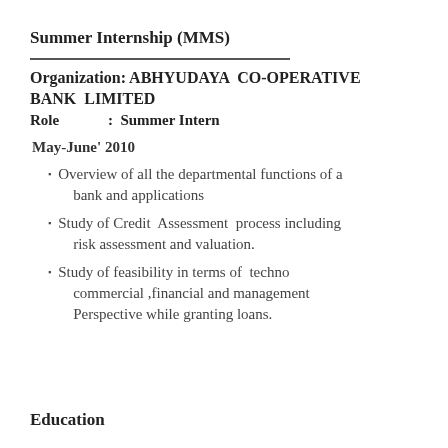Summer Internship (MMS)
Organization: ABHYUDAYA CO-OPERATIVE BANK LIMITED
Role : Summer Intern
May-June' 2010
Overview of all the departmental functions of a bank and applications
Study of Credit Assessment process including risk assessment and valuation.
Study of feasibility in terms of techno commercial ,financial and management Perspective while granting loans.
Education